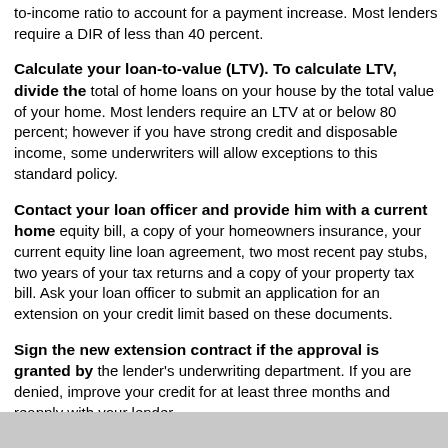to-income ratio to account for a payment increase. Most lenders require a DIR of less than 40 percent.
Calculate your loan-to-value (LTV). To calculate LTV, divide the total of home loans on your house by the total value of your home. Most lenders require an LTV at or below 80 percent; however if you have strong credit and disposable income, some underwriters will allow exceptions to this standard policy.
Contact your loan officer and provide him with a current home equity bill, a copy of your homeowners insurance, your current equity line loan agreement, two most recent pay stubs, two years of your tax returns and a copy of your property tax bill. Ask your loan officer to submit an application for an extension on your credit limit based on these documents.
Sign the new extension contract if the approval is granted by the lender's underwriting department. If you are denied, improve your credit for at least three months and reapply with your lender.